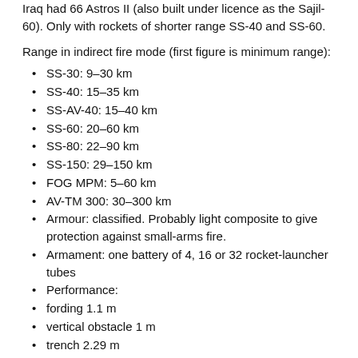Iraq had 66 Astros II (also built under licence as the Sajil-60). Only with rockets of shorter range SS-40 and SS-60.
Range in indirect fire mode (first figure is minimum range):
SS-30: 9–30 km
SS-40: 15–35 km
SS-AV-40: 15–40 km
SS-60: 20–60 km
SS-80: 22–90 km
SS-150: 29–150 km
FOG MPM: 5–60 km
AV-TM 300: 30–300 km
Armour: classified. Probably light composite to give protection against small-arms fire.
Armament: one battery of 4, 16 or 32 rocket-launcher tubes
Performance:
fording 1.1 m
vertical obstacle 1 m
trench 2.29 m
Ammunition Type: High explosive (HE) with multiple warhead